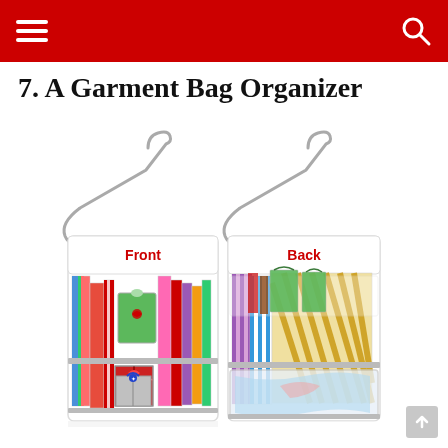7. A Garment Bag Organizer
[Figure (photo): A garment bag organizer shown from both front and back. The front view shows wrapping paper rolls, gift bags, ribbons, and wrapped gift boxes organized in clear pockets. The back view shows more wrapping paper, tissue paper, and a clear bottom pocket. Both sides have silver hangers at the top. Red labels indicate 'Front' and 'Back'.]